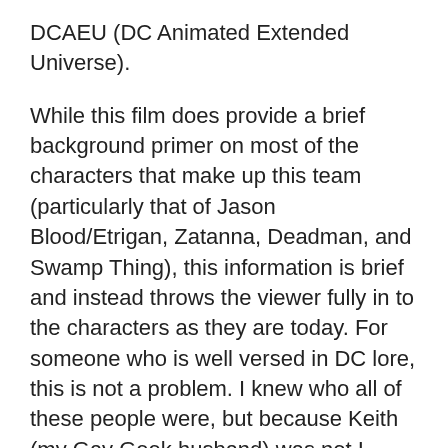DCAEU (DC Animated Extended Universe).
While this film does provide a brief background primer on most of the characters that make up this team (particularly that of Jason Blood/Etrigan, Zatanna, Deadman, and Swamp Thing), this information is brief and instead throws the viewer fully in to the characters as they are today. For someone who is well versed in DC lore, this is not a problem. I knew who all of these people were, but because Keith (my Gay Geek husband) was not I found myself having to frequently stop the film in order to help fill in the gaps. That is the huge difference between